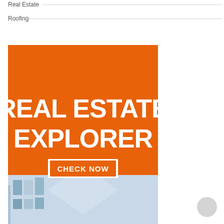Real Estate
Roofing
[Figure (infographic): Real Estate Explorer banner ad with orange background showing bold white text 'REAL ESTATE EXPLORER' and a 'CHECK NOW' button with white border, plus a building photo in the lower portion.]